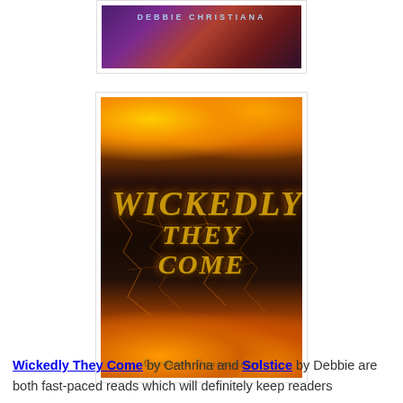[Figure (photo): Book cover partial view — dark space/nebula background with 'DEBBIE CHRISTIANA' author name in light blue letters across top]
[Figure (photo): Book cover for 'Wickedly They Come' by Cathrina Constantine — dramatic fire and cracked lava background with gothic gold title text]
Wickedly They Come by Cathrina and Solstice by Debbie are both fast-paced reads which will definitely keep readers